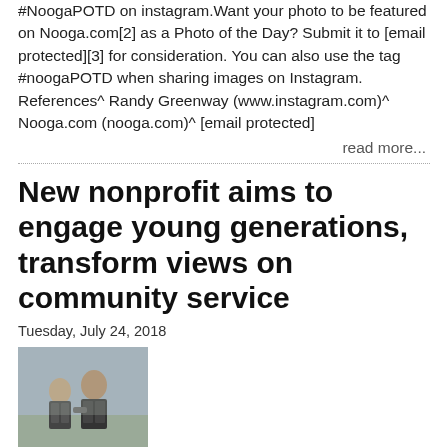#NoogaPOTD on instagram.Want your photo to be featured on Nooga.com[2] as a Photo of the Day? Submit it to [email protected][3] for consideration. You can also use the tag #noogaPOTD when sharing images on Instagram. References^ Randy Greenway (www.instagram.com)^ Nooga.com (nooga.com)^ [email protected]
read more...
New nonprofit aims to engage young generations, transform views on community service
Tuesday, July 24, 2018
[Figure (photo): Two young people standing together, possibly at an outdoor event]
A new, local nonprofit is hoping to encourage young people to give back by transforming how millennials view community